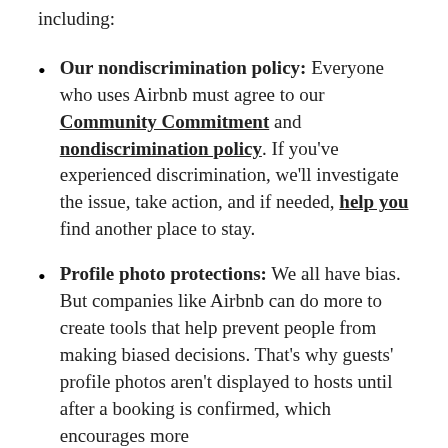including:
Our nondiscrimination policy: Everyone who uses Airbnb must agree to our Community Commitment and nondiscrimination policy. If you've experienced discrimination, we'll investigate the issue, take action, and if needed, help you find another place to stay.
Profile photo protections: We all have bias. But companies like Airbnb can do more to create tools that help prevent people from making biased decisions. That's why guests' profile photos aren't displayed to hosts until after a booking is confirmed, which encourages more